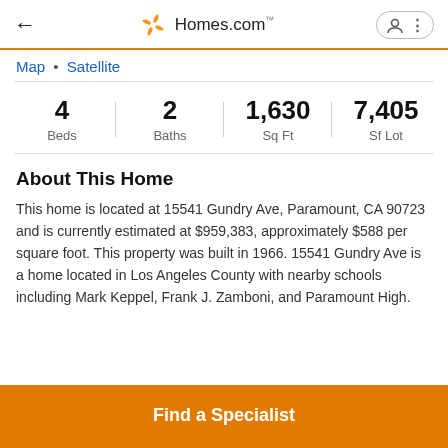← Homes.com
Map • Satellite
| Beds | Baths | Sq Ft | Sf Lot |
| --- | --- | --- | --- |
| 4 | 2 | 1,630 | 7,405 |
About This Home
This home is located at 15541 Gundry Ave, Paramount, CA 90723 and is currently estimated at $959,383, approximately $588 per square foot. This property was built in 1966. 15541 Gundry Ave is a home located in Los Angeles County with nearby schools including Mark Keppel, Frank J. Zamboni, and Paramount High.
Find a Specialist